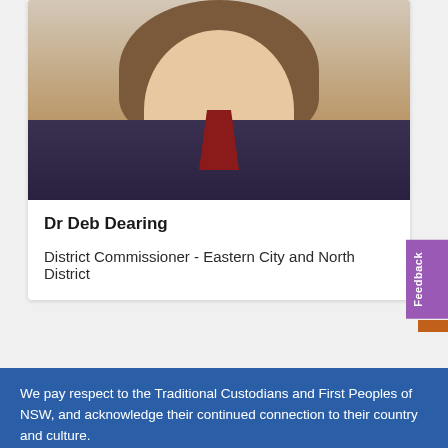[Figure (photo): Portrait photo of Dr Deb Dearing, a woman with short brown hair wearing a dark jacket with red collar detail]
Dr Deb Dearing
District Commissioner - Eastern City and North District
Feedback
We pay respect to the Traditional Custodians and First Peoples of NSW, and acknowledge their continued connection to their country and culture.
Strategic Planning